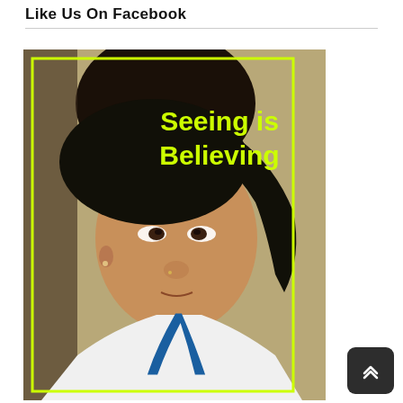Like Us On Facebook
[Figure (photo): A young South Asian woman wearing a white t-shirt with a blue lanyard around her neck, looking slightly upward and to her right. She is photographed in an indoor setting. A yellow-green rectangular border is overlaid on the photo with the text 'Seeing is Believing' in yellow-green color in the upper right area of the image.]